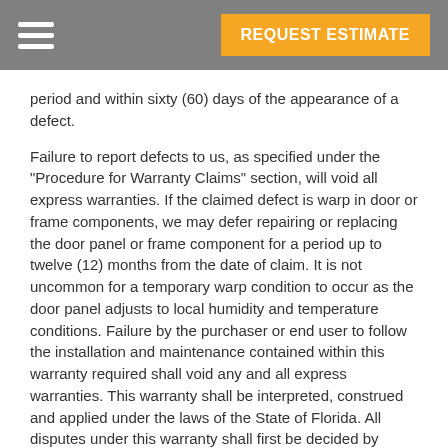REQUEST ESTIMATE
period and within sixty (60) days of the appearance of a defect.
Failure to report defects to us, as specified under the “Procedure for Warranty Claims” section, will void all express warranties. If the claimed defect is warp in door or frame components, we may defer repairing or replacing the door panel or frame component for a period up to twelve (12) months from the date of claim. It is not uncommon for a temporary warp condition to occur as the door panel adjusts to local humidity and temperature conditions. Failure by the purchaser or end user to follow the installation and maintenance contained within this warranty required shall void any and all express warranties. This warranty shall be interpreted, construed and applied under the laws of the State of Florida. All disputes under this warranty shall first be decided by